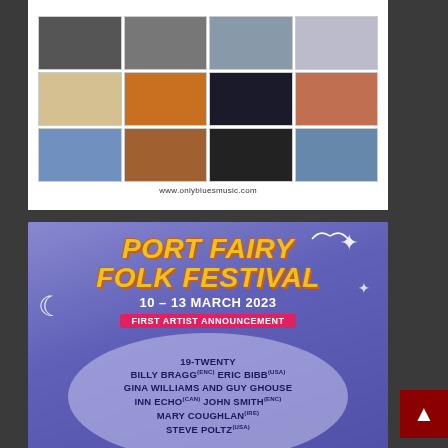[Figure (other): Advertisement for onlybluesmusic.com showing a grid of blues album covers arranged in 3 rows of 4 albums each, with website URL at the bottom]
[Figure (infographic): Port Fairy Folk Festival advertisement. Purple/blue background with decorative moon and stars. Yellow italic bold title 'PORT FAIRY FOLK FESTIVAL'. Date '10 - 13 MARCH 2023'. Pink banner 'FIRST ARTIST ANNOUNCEMENT'. Artists listed: 19-TWENTY, BILLY BRAGG (ENC) ERIC BIBB (USA), GINA WILLIAMS AND GUY GHOUSE, INN ECHO (CAN) JOHN SMITH (ENC), MARY COUGHLAN (IRE), STEVE POLTZ (USA)]